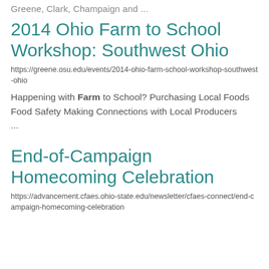Greene, Clark, Champaign and ...
2014 Ohio Farm to School Workshop: Southwest Ohio
https://greene.osu.edu/events/2014-ohio-farm-school-workshop-southwest-ohio
Happening with Farm to School? Purchasing Local Foods Food Safety Making Connections with Local Producers
...
End-of-Campaign Homecoming Celebration
https://advancement.cfaes.ohio-state.edu/newsletter/cfaes-connect/end-campaign-homecoming-celebration